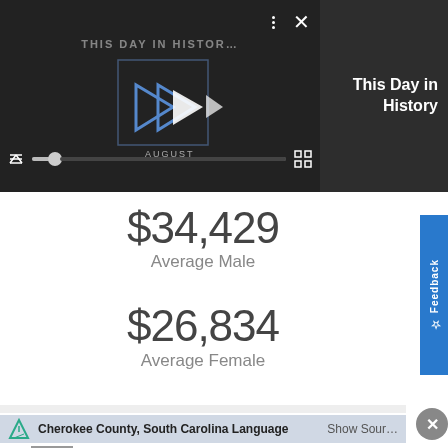[Figure (screenshot): Video player showing 'THIS DAY IN HISTORY' with play controls, progress bar, mute button, fullscreen button, three-dot menu, and close X button. Dark background with blue play arrow icons.]
This Day in History
$34,429
Average Male
$26,834
Average Female
Cherokee County, South Carolina Language
Show Sour…
Ad  Build your career with a Capital One internship Capital One  Learn more